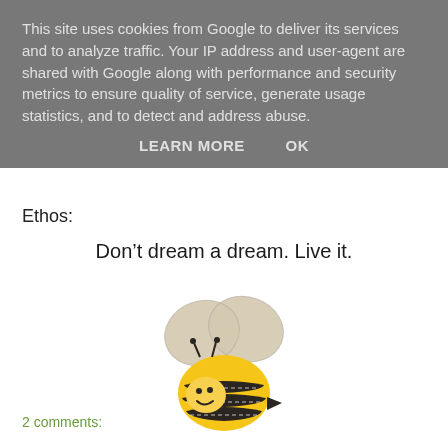This site uses cookies from Google to deliver its services and to analyze traffic. Your IP address and user-agent are shared with Google along with performance and security metrics to ensure quality of service, generate usage statistics, and to detect and address abuse.
LEARN MORE    OK
Ethos:
Don’t dream a dream. Live it.
[Figure (illustration): A cute cartoon/plush bumblebee with fuzzy beige wings, yellow and black striped body, and a smiley face.]
2 comments: